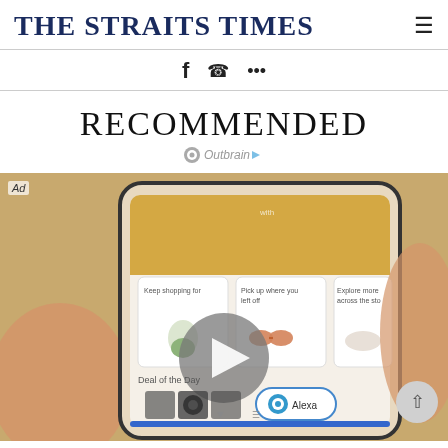THE STRAITS TIMES
[Figure (screenshot): Social share icons: Facebook, WhatsApp, and more (...)]
RECOMMENDED
Outbrain
[Figure (photo): Advertisement photo showing a hand holding a smartphone with an Amazon shopping app open, displaying sections: 'Keep shopping for', 'Pick up where you left off', 'Explore more across the store', 'Deal of the Day', and Alexa button. A play button overlay is shown. An 'Ad' label is in the top-left corner.]